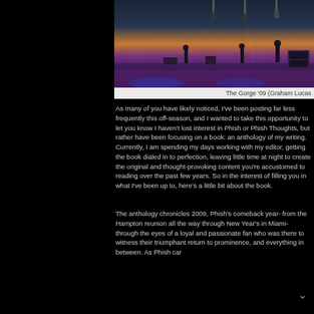[Figure (photo): Concert photo of Phish performing at The Gorge in 2009, taken at dusk/sunset with purple and orange sky, stage lighting, and musicians on stage]
The Gorge '09 (Graham Lucas
As many of you have likely noticed, I've been posting far less frequently this off-season, and I wanted to take this opportunity to let you know I haven't lost interest in Phish or Phish Thoughts, but rather have been focusing on a book: an anthology of my writing. Currently, I am spending my days working with my editor, getting the book dialed in to perfection, leaving little time at night to create the original and thought-provoking content you're accustomed to reading over the past few years. So in the interest of filling you in what I've been up to, here's a little bit about the book.
The anthology chronicles 2009, Phish's comeback year- from the Hampton reunion all the way through New Year's in Miami- through the eyes of a loyal and passionate fan who was there to witness their triumphant return to prominence, and everything in between. As Phish car